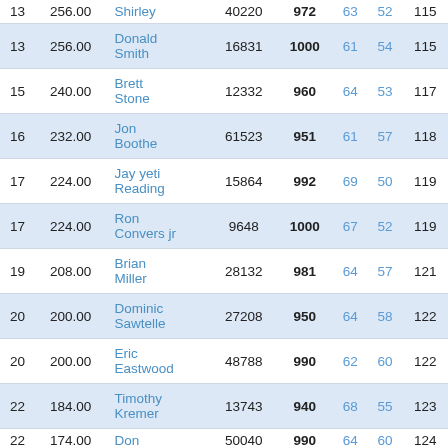| Rank | Points | Name | ID | Score | Col6 | Col7 | Col8 |
| --- | --- | --- | --- | --- | --- | --- | --- |
| 13 | 256.00 | Shirley | 40220 | 972 | 63 | 52 | 115 |
| 13 | 256.00 | Donald Smith | 16831 | 1000 | 61 | 54 | 115 |
| 15 | 240.00 | Brett Stone | 12332 | 960 | 64 | 53 | 117 |
| 16 | 232.00 | Jon Boothe | 61523 | 951 | 61 | 57 | 118 |
| 17 | 224.00 | Jay yeti Reading | 15864 | 992 | 69 | 50 | 119 |
| 17 | 224.00 | Ron Convers jr | 9648 | 1000 | 67 | 52 | 119 |
| 19 | 208.00 | Brian Miller | 28132 | 981 | 64 | 57 | 121 |
| 20 | 200.00 | Dominic Sawtelle | 27208 | 950 | 64 | 58 | 122 |
| 20 | 200.00 | Eric Eastwood | 48788 | 990 | 62 | 60 | 122 |
| 22 | 184.00 | Timothy Kremer | 13743 | 940 | 68 | 55 | 123 |
| 22 | 174.00 | Don | 50040 | 990 | 64 | 60 | 124 |